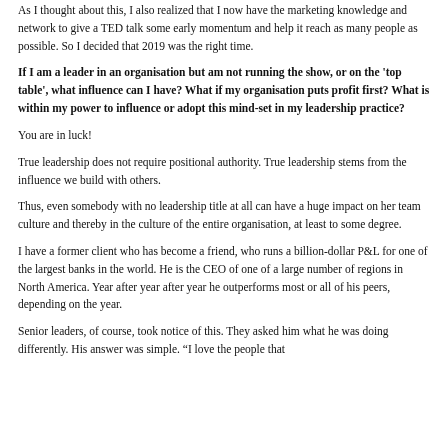As I thought about this, I also realized that I now have the marketing knowledge and network to give a TED talk some early momentum and help it reach as many people as possible.  So I decided that 2019 was the right time.
If I am a leader in an organisation but am not running the show, or on the ‘top table’, what influence can I have? What if my organisation puts profit first? What is within my power to influence or adopt this mind-set in my leadership practice?
You are in luck!
True leadership does not require positional authority. True leadership stems from the influence we build with others.
Thus, even somebody with no leadership title at all can have a huge impact on her team culture and thereby in the culture of the entire organisation, at least to some degree.
I have a former client who has become a friend, who runs a billion-dollar P&L for one of the largest banks in the world.  He is the CEO of one of a large number of regions in North America. Year after year after year he outperforms most or all of his peers, depending on the year.
Senior leaders, of course, took notice of this.  They asked him what he was doing differently. His answer was simple. “I love the people that